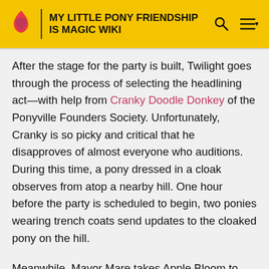MY LITTLE PONY FRIENDSHIP IS MAGIC WIKI
After the stage for the party is built, Twilight goes through the process of selecting the headlining act—with help from Cranky Doodle Donkey of the Ponyville Founders Society. Unfortunately, Cranky is so picky and critical that he disapproves of almost everyone who auditions. During this time, a pony dressed in a cloak observes from atop a nearby hill. One hour before the party is scheduled to begin, two ponies wearing trench coats send updates to the cloaked pony on the hill.
Meanwhile, Mayor Mare takes Apple Bloom to her favorite spot in Ponyville: the Ponyville Schoolhouse, where young ponies' minds are shaped with knowledge. Believing she is done helping Apple Bloom with her project, Mayor Mare...